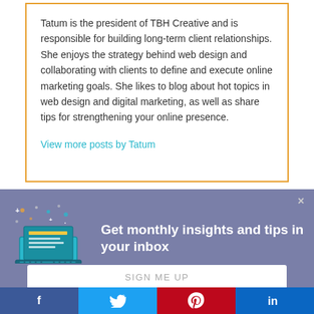Tatum is the president of TBH Creative and is responsible for building long-term client relationships. She enjoys the strategy behind web design and collaborating with clients to define and execute online marketing goals. She likes to blog about hot topics in web design and digital marketing, as well as share tips for strengthening your online presence.
View more posts by Tatum
[Figure (infographic): Newsletter signup banner with laptop/document icon, decorative dots, and text 'Get monthly insights and tips in your inbox' on purple/blue background with a Sign Me Up input field and social share bar at bottom (Facebook, Twitter, Pinterest, LinkedIn)]